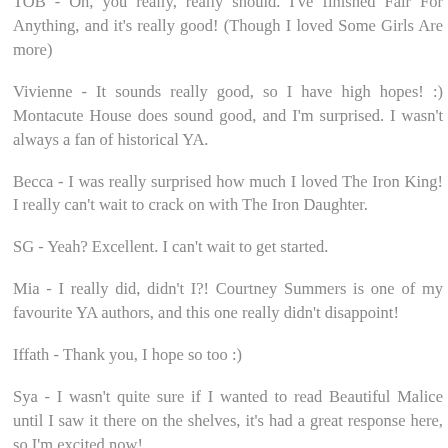TOB - Oh, you really, really should. I've finished Fair For Anything, and it's really good! (Though I loved Some Girls Are more)
Vivienne - It sounds really good, so I have high hopes! :) Montacute House does sound good, and I'm surprised. I wasn't always a fan of historical YA.
Becca - I was really surprised how much I loved The Iron King! I really can't wait to crack on with The Iron Daughter.
SG - Yeah? Excellent. I can't wait to get started.
Mia - I really did, didn't I?! Courtney Summers is one of my favourite YA authors, and this one really didn't disappoint!
Iffath - Thank you, I hope so too :)
Sya - I wasn't quite sure if I wanted to read Beautiful Malice until I saw it there on the shelves, it's had a great response here, so I'm excited now!
Caroline - She's amazing, don't wait! I'm glad you loved